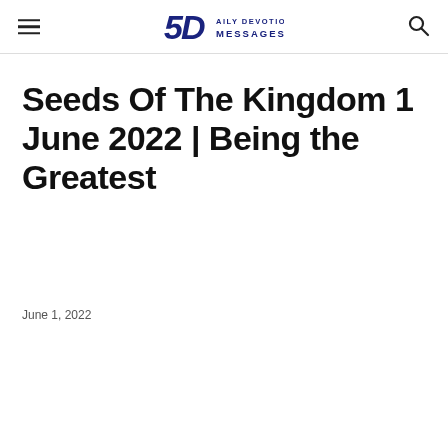Daily Devotional Messages — navigation header with hamburger menu, logo, and search icon
Seeds Of The Kingdom 1 June 2022 | Being the Greatest
June 1, 2022